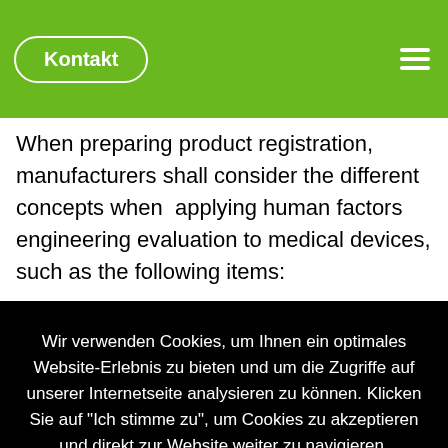Kontakt
When preparing product registration, manufacturers shall consider the different concepts when applying human factors engineering evaluation to medical devices, such as the following items:
Wir verwenden Cookies, um Ihnen ein optimales Website-Erlebnis zu bieten und um die Zugriffe auf unserer Internetseite analysieren zu können. Klicken Sie auf "Ich stimme zu", um Cookies zu akzeptieren und direkt zur Website weiter zu navigieren.
Ich stimme zu